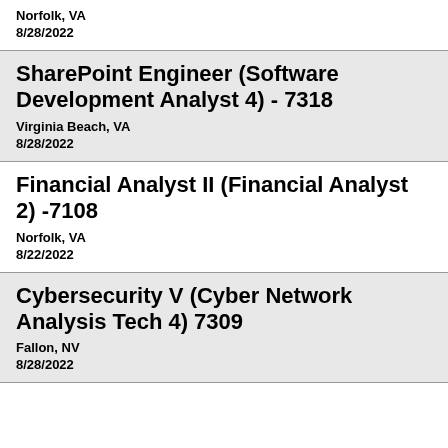Norfolk, VA
8/28/2022
SharePoint Engineer (Software Development Analyst 4) - 7318
Virginia Beach, VA
8/28/2022
Financial Analyst II (Financial Analyst 2) -7108
Norfolk, VA
8/22/2022
Cybersecurity V (Cyber Network Analysis Tech 4) 7309
Fallon, NV
8/28/2022